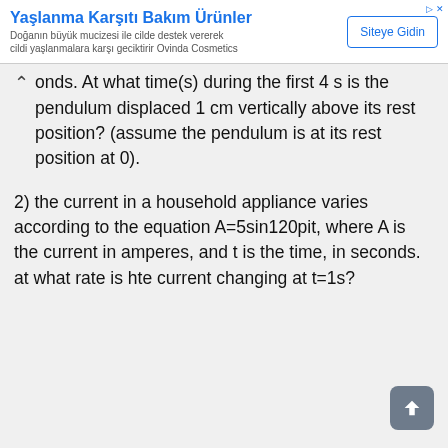[Figure (other): Advertisement banner for 'Yaşlanma Karşıtı Bakım Ürünler' (Anti-aging Care Products) by Ovinda Cosmetics with a 'Siteye Gidin' (Go to Site) button]
onds. At what time(s) during the first 4 s is the pendulum displaced 1 cm vertically above its rest position? (assume the pendulum is at its rest position at 0).
2) the current in a household appliance varies according to the equation A=5sin120pit, where A is the current in amperes, and t is the time, in seconds. at what rate is hte current changing at t=1s?